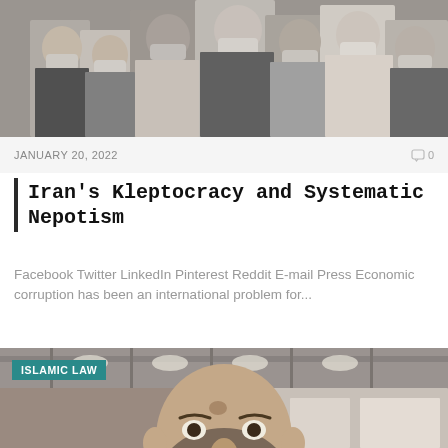[Figure (photo): Group of men wearing face masks, crowded together, some in suits]
JANUARY 20, 2022
0
Iran's Kleptocracy and Systematic Nepotism
Facebook Twitter LinkedIn Pinterest Reddit E-mail Press Economic corruption has been an international problem for...
[Figure (photo): Middle-aged bearded man in white shirt at what appears to be an airport or transit area, with ISLAMIC LAW badge overlaid]
ISLAMIC LAW